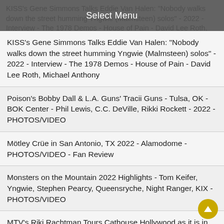Select Menu
KISS's Gene Simmons Talks Eddie Van Halen: "Nobody walks down the street humming Yngwie (Malmsteen) solos" - 2022 - Interview - The 1978 Demos - House of Pain - David Lee Roth, Michael Anthony
Poison's Bobby Dall & L.A. Guns' Tracii Guns - Tulsa, OK - BOK Center - Phil Lewis, C.C. DeVille, Rikki Rockett - 2022 - PHOTOS/VIDEO
Mötley Crüe in San Antonio, TX 2022 - Alamodome - PHOTOS/VIDEO - Fan Review
Monsters on the Mountain 2022 Highlights - Tom Keifer, Yngwie, Stephen Pearcy, Queensryche, Night Ranger, KIX - PHOTOS/VIDEO
MTV's Riki Rachtman Tours Cathouse Hollywood as it is in 2022: "Stephen Pearcy from RATT told me he used to like doing cocaine in there" - VIDEO
Best of 80's Guitar List According to Guitarists Warren DeMartini, Scott Ian, John 5, Marty Friedman, Adam Jones, Lita Ford, Mark Tremonti
Motley Crue: Houston, TX 2022 - Minute Maid